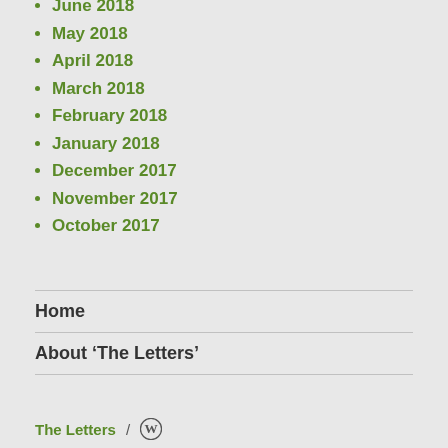June 2018
May 2018
April 2018
March 2018
February 2018
January 2018
December 2017
November 2017
October 2017
Home
About 'The Letters'
The Letters / WordPress